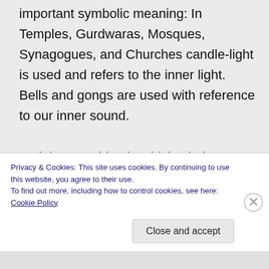important symbolic meaning: In Temples, Gurdwaras, Mosques, Synagogues, and Churches candle-light is used and refers to the inner light. Bells and gongs are used with reference to our inner sound.

So it is a teaching in which whole mankind can find its place, not just for single religions (as human beings created the religions but God created man) and it is the most simple Yoga for old and young ones,
Privacy & Cookies: This site uses cookies. By continuing to use this website, you agree to their use.
To find out more, including how to control cookies, see here: Cookie Policy
Close and accept